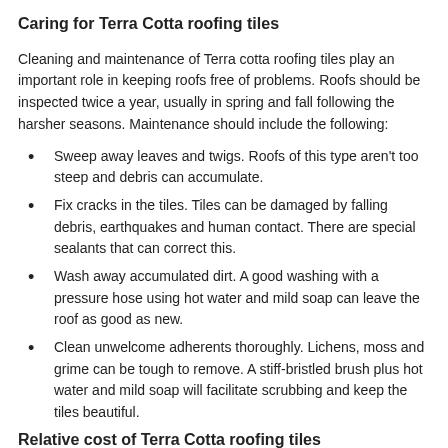Caring for Terra Cotta roofing tiles
Cleaning and maintenance of Terra cotta roofing tiles play an important role in keeping roofs free of problems. Roofs should be inspected twice a year, usually in spring and fall following the harsher seasons. Maintenance should include the following:
Sweep away leaves and twigs. Roofs of this type aren't too steep and debris can accumulate.
Fix cracks in the tiles. Tiles can be damaged by falling debris, earthquakes and human contact. There are special sealants that can correct this.
Wash away accumulated dirt. A good washing with a pressure hose using hot water and mild soap can leave the roof as good as new.
Clean unwelcome adherents thoroughly. Lichens, moss and grime can be tough to remove. A stiff-bristled brush plus hot water and mild soap will facilitate scrubbing and keep the tiles beautiful.
Relative cost of Terra Cotta roofing tiles